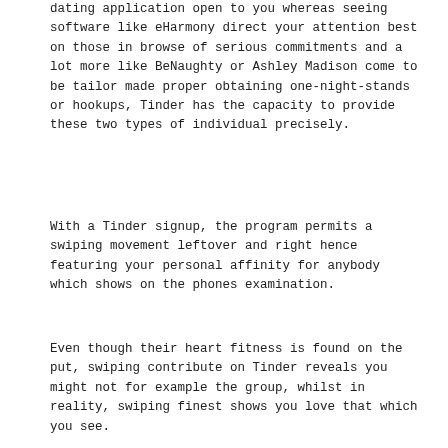dating application open to you whereas seeing software like eHarmony direct your attention best on those in browse of serious commitments and a lot more like BeNaughty or Ashley Madison come to be tailor made proper obtaining one-night-stands or hookups, Tinder has the capacity to provide these two types of individual precisely.
With a Tinder signup, the program permits a swiping movement leftover and right hence featuring your personal affinity for anybody which shows on the phones examination.
Even though their heart fitness is found on the put, swiping contribute on Tinder reveals you might not for example the group, whilst in reality, swiping finest shows you love that which you see.